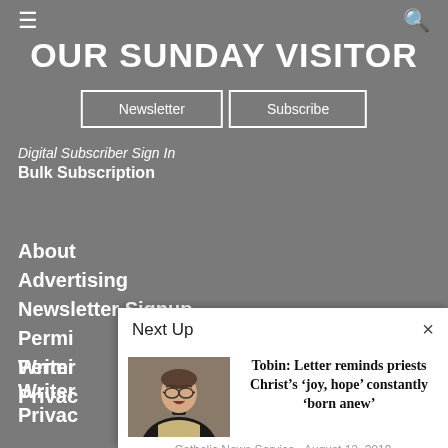OUR SUNDAY VISITOR
Newsletter
Subscribe
Digital Subscriber Sign In
Bulk Subscription
About
Advertising
Newsletter Signup
Permissions
Writers
Privacy
Next Up
Tobin: Letter reminds priests Christ's ‘joy, hope’ constantly ‘born anew’
Catholic News Service · August 12, 2019
[Figure (photo): A priest wearing glasses and liturgical vestments, mouth open as if speaking or singing]